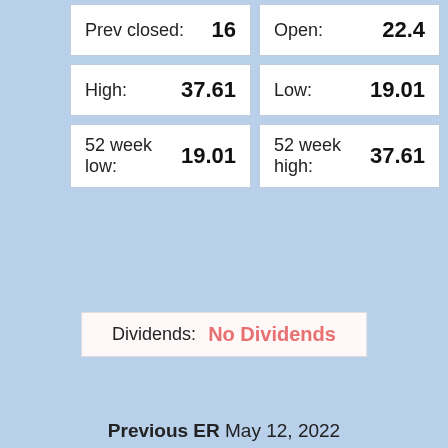| Label | Value | Label | Value |
| --- | --- | --- | --- |
| Prev closed: | 16 | Open: | 22.4 |
| High: | 37.61 | Low: | 19.01 |
| 52 week low: | 19.01 | 52 week high: | 37.61 |
Dividends: No Dividends
Previous ER May 12, 2022